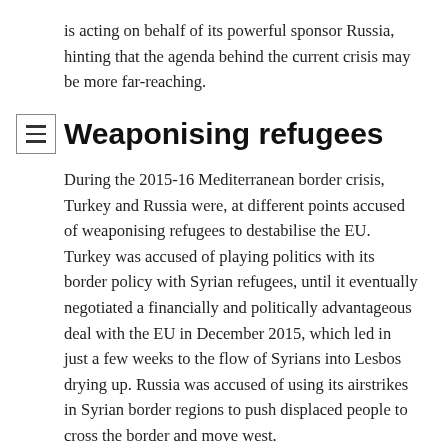is acting on behalf of its powerful sponsor Russia, hinting that the agenda behind the current crisis may be more far-reaching.
Weaponising refugees
During the 2015-16 Mediterranean border crisis, Turkey and Russia were, at different points accused of weaponising refugees to destabilise the EU. Turkey was accused of playing politics with its border policy with Syrian refugees, until it eventually negotiated a financially and politically advantageous deal with the EU in December 2015, which led in just a few weeks to the flow of Syrians into Lesbos drying up. Russia was accused of using its airstrikes in Syrian border regions to push displaced people to cross the border and move west.